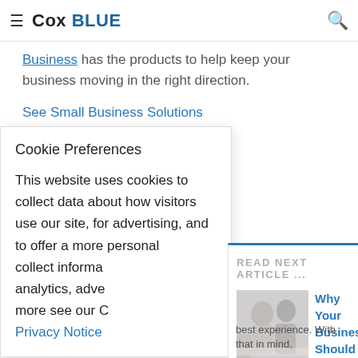≡ Cox BLUE
Business has the products to help keep your business moving in the right direction.
See Small Business Solutions
Cookie Preferences
This website uses cookies to collect data about how visitors use our site, for advertising, and to offer a more personal[ized experience]. We collect informa[tion from] analytics, adve[rtising, and] more see our C[ookie] Privacy Notice
READ NEXT ARTICLE ...
[Figure (photo): Blurred photo of people in a business setting]
Why Your Business Should Be Customers With Free WiFi
As a business owner, you're always t[rying to attract] more customers to your business and best experience. With that in mind,